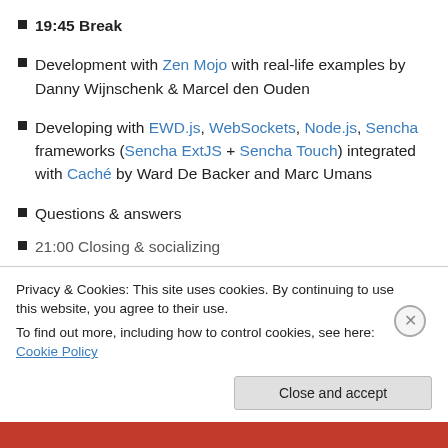19:45 Break
Development with Zen Mojo with real-life examples by Danny Wijnschenk & Marcel den Ouden
Developing with EWD.js, WebSockets, Node.js, Sencha frameworks (Sencha ExtJS + Sencha Touch) integrated with Caché by Ward De Backer and Marc Umans
Questions & answers
21:00 Closing & socializing
Privacy & Cookies: This site uses cookies. By continuing to use this website, you agree to their use. To find out more, including how to control cookies, see here: Cookie Policy
Close and accept